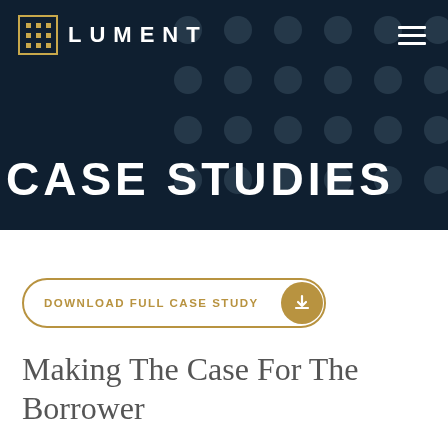LUMENT
CASE STUDIES
DOWNLOAD FULL CASE STUDY
Making The Case For The Borrower